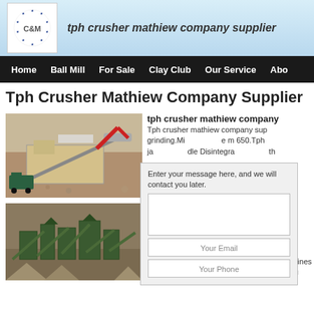tph crusher mathiew company supplier
Home | Ball Mill | For Sale | Clay Club | Our Service | Abo
Tph Crusher Mathiew Company Supplier
[Figure (photo): Aerial view of a large mobile crusher machine at a quarry site with an excavator loading material]
[Figure (photo): Aerial view of a green aggregate processing plant with multiple conveyor belts and stockpiles]
tph crusher mathiew company
Tph crusher mathiew company supplier grinding.Mill of 600 tph to m 650.Tph ja dle Disintegra th
Tph Crusher Mathiew Company an
Tph Crusher Su various mining machines installing processing equipment and building